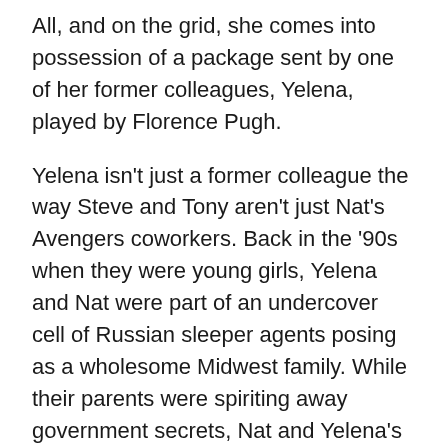All, and on the grid, she comes into possession of a package sent by one of her former colleagues, Yelena, played by Florence Pugh.
Yelena isn't just a former colleague the way Steve and Tony aren't just Nat's Avengers coworkers. Back in the '90s when they were young girls, Yelena and Nat were part of an undercover cell of Russian sleeper agents posing as a wholesome Midwest family. While their parents were spiriting away government secrets, Nat and Yelena's sister act provided part of the makeshift family's cover. Having undergone some preliminary Widow training, Nat was seemingly old enough to understand the circumstances, but to the younger Yelena, that fake life was her real one, and all she ever knew.
Nat barely hesitates in jumping in head-first and